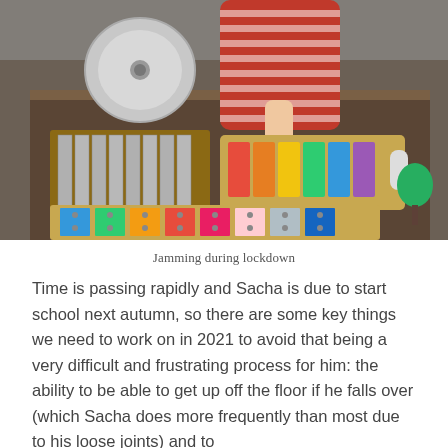[Figure (photo): A young child in a red striped shirt playing with colourful xylophones and percussion instruments on a wooden table outdoors. A tambourine is visible in the background. Multiple colourful xylophone bars in rainbow colours are visible both on the table and on the floor.]
Jamming during lockdown
Time is passing rapidly and Sacha is due to start school next autumn, so there are some key things we need to work on in 2021 to avoid that being a very difficult and frustrating process for him: the ability to be able to get up off the floor if he falls over (which Sacha does more frequently than most due to his loose joints) and to